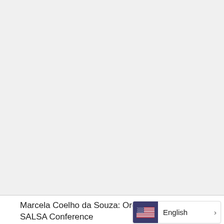[Figure (other): Large blank/empty light gray content area representing a document page or slide preview]
Marcela Coelho da Souza: Org SALSA Conference
[Figure (other): Language selector widget showing US flag and 'English' with a chevron arrow]